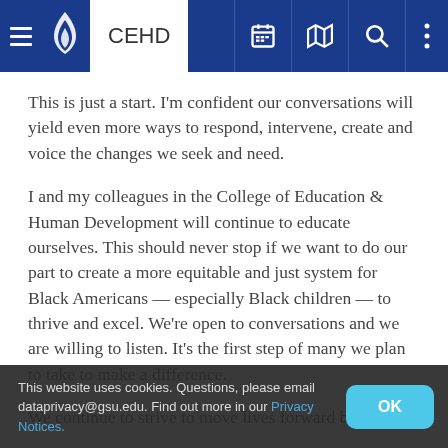CEHD
This is just a start. I'm confident our conversations will yield even more ways to respond, intervene, create and voice the changes we seek and need.
I and my colleagues in the College of Education & Human Development will continue to educate ourselves. This should never stop if we want to do our part to create a more equitable and just system for Black Americans — especially Black children — to thrive and excel. We're open to conversations and we are willing to listen. It's the first step of many we plan to take to make a difference.
We continue to strive to move lives forward by
This website uses cookies. Questions, please email dataprivacy@gsu.edu. Find out more in our Privacy Notices.